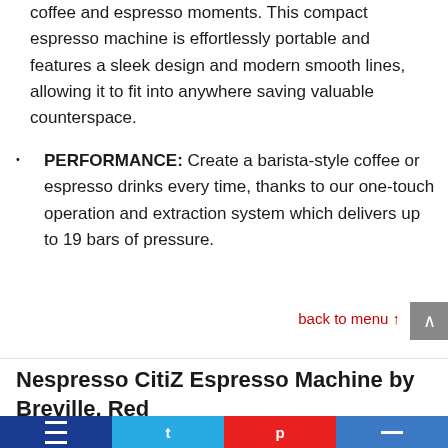coffee and espresso moments. This compact espresso machine is effortlessly portable and features a sleek design and modern smooth lines, allowing it to fit into anywhere saving valuable counterspace.
PERFORMANCE: Create a barista-style coffee or espresso drinks every time, thanks to our one-touch operation and extraction system which delivers up to 19 bars of pressure.
back to menu ↑
Nespresso CitiZ Espresso Machine by Breville, Red